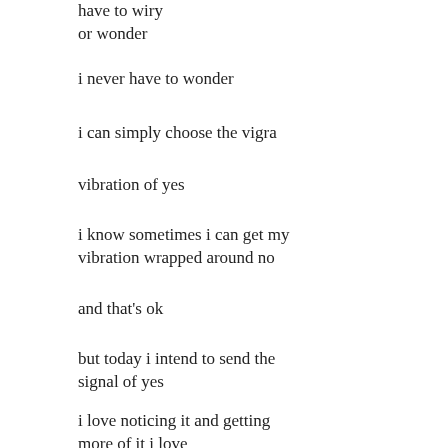have to wiry
or wonder
i never have to wonder
i can simply choose the vigra
vibration of yes
i know sometimes i can get my
vibration wrapped around no
and that's ok
but today i intend to send the
signal of yes
i love noticing it and getting
more of it i love